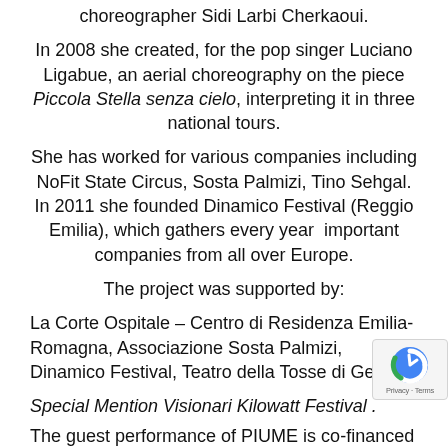choreographer Sidi Larbi Cherkaoui.
In 2008 she created, for the pop singer Luciano Ligabue, an aerial choreography on the piece Piccola Stella senza cielo, interpreting it in three national tours.
She has worked for various companies including NoFit State Circus, Sosta Palmizi, Tino Sehgal. In 2011 she founded Dinamico Festival (Reggio Emilia), which gathers every year important companies from all over Europe.
The project was supported by:
La Corte Ospitale – Centro di Residenza Emilia-Romagna, Associazione Sosta Palmizi, Dinamico Festival, Teatro della Tosse di Genova
Special Mention Visionari Kilowatt Festival .
The guest performance of PIUME is co-financed by